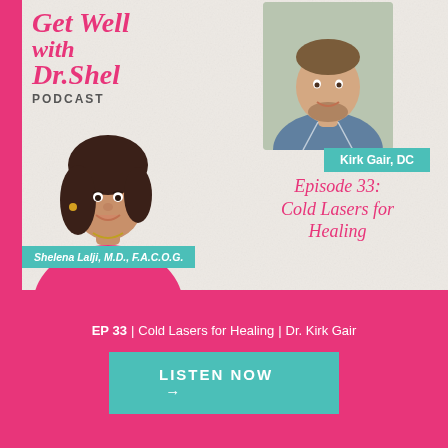[Figure (illustration): Podcast cover image for 'Get Well with Dr. Shel Podcast' featuring Kirk Gair DC and Shelena Lalji MD FACOG, Episode 33: Cold Lasers for Healing. Teal name badges, pink cursive title text, photos of the two doctors on a light textured background.]
EP 33 | Cold Lasers for Healing | Dr. Kirk Gair
LISTEN NOW →